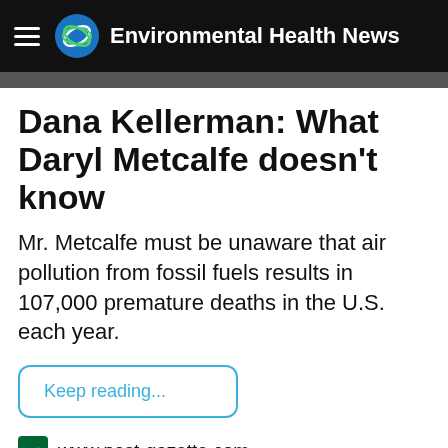Environmental Health News
Dana Kellerman: What Daryl Metcalfe doesn't know
Mr. Metcalfe must be unaware that air pollution from fossil fuels results in 107,000 premature deaths in the U.S. each year.
Keep reading...
www.post-gazette.com
[Figure (other): Row of circular social media sharing icons in green]